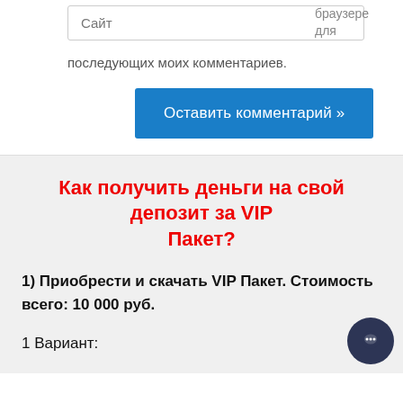Сайт
браузере для последующих моих комментариев.
Оставить комментарий »
Как получить деньги на свой депозит за VIP Пакет?
1) Приобрести и скачать VIP Пакет. Стоимость всего: 10 000 руб.
1 Вариант: